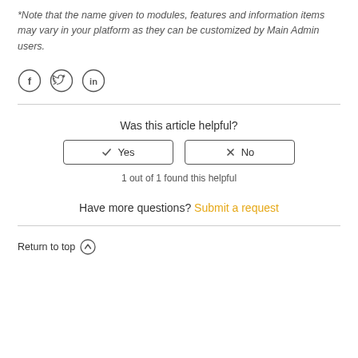*Note that the name given to modules, features and information items may vary in your platform as they can be customized by Main Admin users.
[Figure (infographic): Three social media icons in circles: Facebook (f), Twitter (bird), LinkedIn (in)]
Was this article helpful?
✓ Yes   ✗ No (buttons)
1 out of 1 found this helpful
Have more questions? Submit a request
Return to top ↑